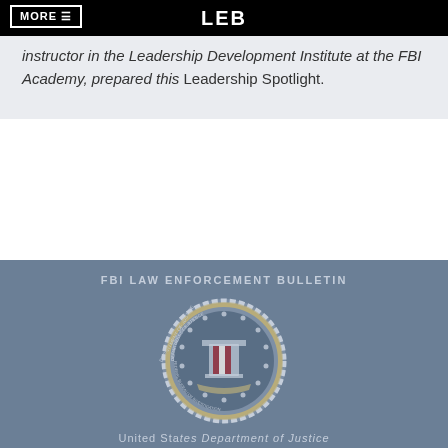MORE ☰   LEB
instructor in the Leadership Development Institute at the FBI Academy, prepared this Leadership Spotlight.
[Figure (logo): Department of Justice / FBI seal watermark in grayish-blue footer area]
FBI LAW ENFORCEMENT BULLETIN
United States Department of Justice